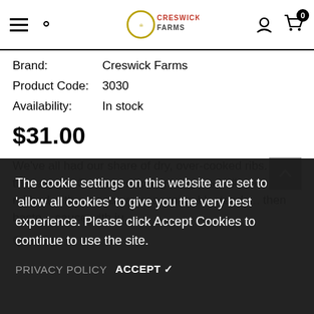Creswick Farms — navigation header with hamburger menu, search, logo, user icon, cart (0)
Brand: Creswick Farms
Product Code: 3030
Availability: In stock
$31.00
We've all had our share of dry, over-cooked ribs. Not these guys. Our finger-licking baby back ribs are hand-rubbed with a signature seasoning bl... tende... then baste... sauce with ju...
Quantity:
The cookie settings on this website are set to 'allow all cookies' to give you the very best experience. Please click Accept Cookies to continue to use the site.
PRIVACY POLICY   ACCEPT ✓